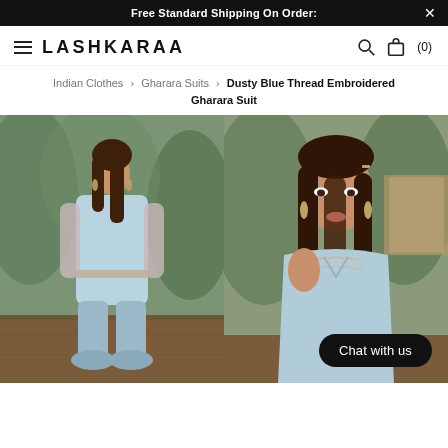Free Standard Shipping On Order: ×
LASHKARAA
Indian Clothes > Gharara Suits > Dusty Blue Thread Embroidered Gharara Suit
[Figure (photo): Model wearing a dusty blue thread embroidered gharara suit, full-length view, standing against a green painted backdrop]
[Figure (photo): Close-up of model in dusty blue embroidered gharara suit, seated pose against a wooden and green backdrop, with Chat with us button overlay]